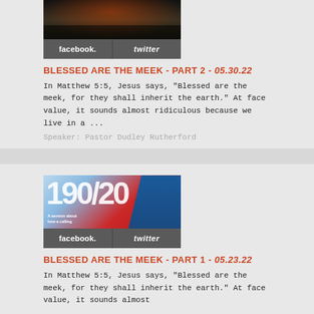[Figure (photo): Thumbnail image of a large church audience/congregation viewed from above]
[Figure (infographic): Facebook and Twitter social sharing buttons bar, dark gray background]
BLESSED ARE THE MEEK - PART 2 - 05.30.22
In Matthew 5:5, Jesus says, "Blessed are the meek, for they shall inherit the earth." At face value, it sounds almost ridiculous because we live in a ...
Speaker: Pastor Dudley Rutherford
[Figure (photo): Thumbnail image showing large numbers 190/20 overlay with a man in blue jacket and red flower background]
[Figure (infographic): Facebook and Twitter social sharing buttons bar, dark gray background]
BLESSED ARE THE MEEK - PART 1 - 05.23.22
In Matthew 5:5, Jesus says, "Blessed are the meek, for they shall inherit the earth." At face value, it sounds almost